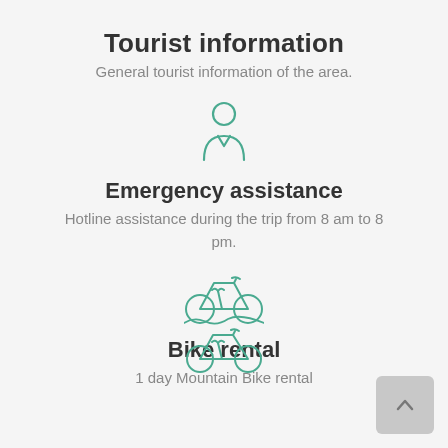Tourist information
General tourist information of the area.
[Figure (illustration): Person/tourist icon in teal outline style]
Emergency assistance
Hotline assistance during the trip from 8 am to 8 pm.
[Figure (illustration): Mountain bike icon in teal outline style with terrain]
Bike rental
1 day Mountain Bike rental
[Figure (illustration): Bicycle icon in teal outline style]